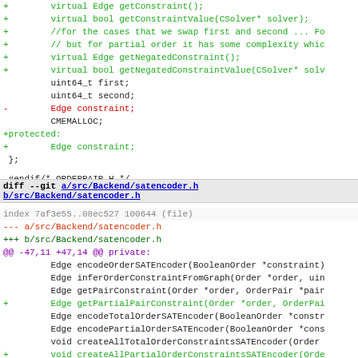diff --git a/src/Backend/orderpair.h b/src/Backend/orderpair.h code diff context showing virtual Edge getConstraint(), virtual bool getConstraintValue, comments, protected section, Edge constraint, etc.
diff --git a/src/Backend/satencoder.h b/src/Backend/satencoder.h index 7af3e55..08ec527 100644 (file) --- a/src/Backend/satencoder.h +++ b/src/Backend/satencoder.h @@ -47,11 +47,14 @@ private:
Edge encodeOrderSATEncoder, inferOrderConstraintFromGraph, getPairConstraint, getPartialPairConstraint, encodeTotalOrderSATEncoder, encodePartialOrderSATEncoder, createAllTotalOrderConstraintsSATEncoder, createAllPartialOrderConstraintsSATEncoder, getOrderConstraint, generateTransOrderConstraintSATEncoder